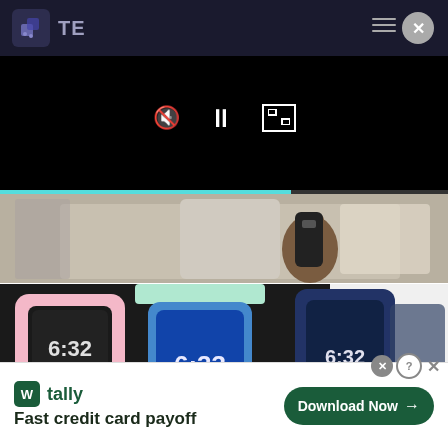TE
[Figure (screenshot): Video player with controls (mute, pause, fullscreen) and cyan progress bar, showing a hand holding a remote control]
Who Owns Netflix? The Answer Is Surprising
[Figure (photo): Collection of colorful digital Shark watches showing times 6:32 and 6:33]
[Figure (other): Tally advertisement banner: 'Fast credit card payoff' with Download Now button]